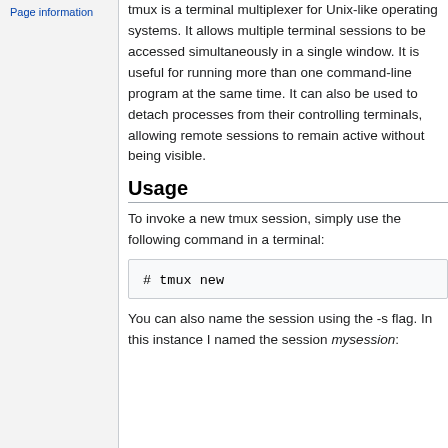Page information
tmux is a terminal multiplexer for Unix-like operating systems. It allows multiple terminal sessions to be accessed simultaneously in a single window. It is useful for running more than one command-line program at the same time. It can also be used to detach processes from their controlling terminals, allowing remote sessions to remain active without being visible.
Usage
To invoke a new tmux session, simply use the following command in a terminal:
# tmux new
You can also name the session using the -s flag. In this instance I named the session mysession: